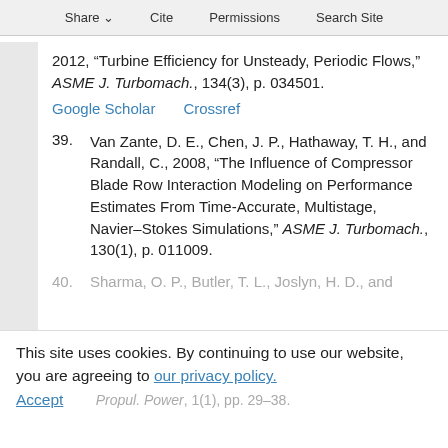Share  Cite  Permissions  Search Site
2012, “Turbine Efficiency for Unsteady, Periodic Flows,” ASME J. Turbomach., 134(3), p. 034501.
Google Scholar    Crossref
39. Van Zante, D. E., Chen, J. P., Hathaway, T. H., and Randall, C., 2008, “The Influence of Compressor Blade Row Interaction Modeling on Performance Estimates From Time-Accurate, Multistage, Navier–Stokes Simulations,” ASME J. Turbomach., 130(1), p. 011009.
40. Sharma, O. P., Butler, T. L., Joslyn, H. D., and … Propul. Power, 1(1), pp. 29–38.
This site uses cookies. By continuing to use our website, you are agreeing to our privacy policy. Accept